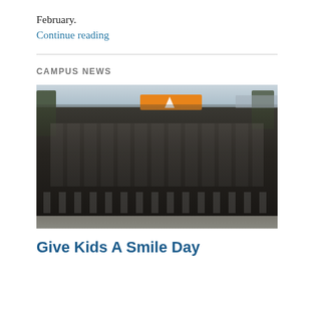February.
Continue reading
CAMPUS NEWS
[Figure (photo): Large group photo of students and staff outdoors in front of a building. The group is large, with many children wearing black uniforms with white collars, along with adult supervisors. An orange banner is visible in the background.]
Give Kids A Smile Day